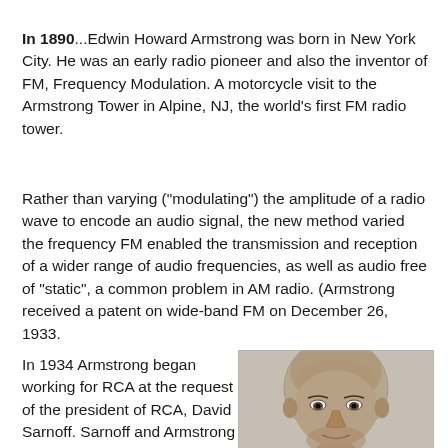In 1890...Edwin Howard Armstrong was born in New York City. He was an early radio pioneer and also the inventor of FM, Frequency Modulation. A motorcycle visit to the Armstrong Tower in Alpine, NJ, the world's first FM radio tower.
Rather than varying ("modulating") the amplitude of a radio wave to encode an audio signal, the new method varied the frequency FM enabled the transmission and reception of a wider range of audio frequencies, as well as audio free of "static", a common problem in AM radio. (Armstrong received a patent on wide-band FM on December 26, 1933.
In 1934 Armstrong began working for RCA at the request of the president of RCA, David Sarnoff. Sarnoff and Armstrong first met at a boxing match involving Jack Dempsey in 1920. At the time
[Figure (illustration): Black and white pencil sketch portrait of a bald man, likely Edwin Howard Armstrong, shown from roughly the shoulders up, facing slightly to the right.]